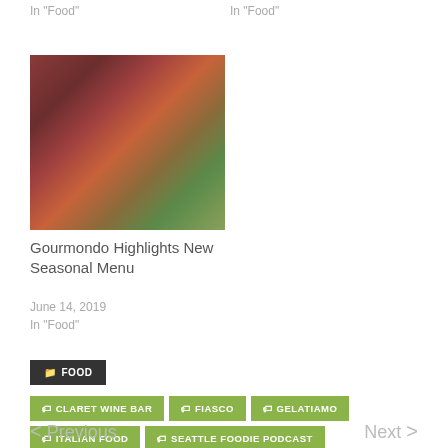In "Food"
In "Food"
[Figure (photo): Food/floral arrangement photo showing red flowers, greenery and a drink on a wooden surface]
Gourmondo Highlights New Seasonal Menu
June 14, 2019
In "Food"
FOOD
CLARET WINE BAR
FIASCO
GELATIAMO
ITALIAN FOOD
SEATTLE FOODIE PODCAST
< Previous
Next >
7 comments